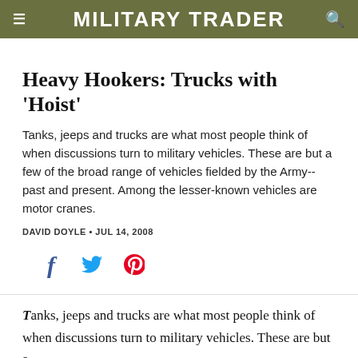MILITARY TRADER
Heavy Hookers: Trucks with 'Hoist'
Tanks, jeeps and trucks are what most people think of when discussions turn to military vehicles. These are but a few of the broad range of vehicles fielded by the Army--past and present. Among the lesser-known vehicles are motor cranes.
DAVID DOYLE • JUL 14, 2008
[Figure (other): Social media share icons: Facebook (f), Twitter (bird), Pinterest (P)]
Tanks, jeeps and trucks are what most people think of when discussions turn to military vehicles. These are but a